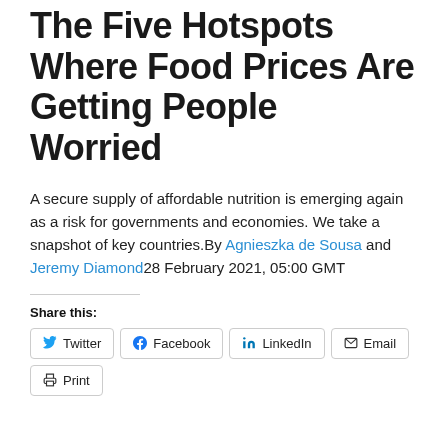The Five Hotspots Where Food Prices Are Getting People Worried
A secure supply of affordable nutrition is emerging again as a risk for governments and economies. We take a snapshot of key countries.By Agnieszka de Sousa and Jeremy Diamond28 February 2021, 05:00 GMT
Share this:
Twitter | Facebook | LinkedIn | Email | Print